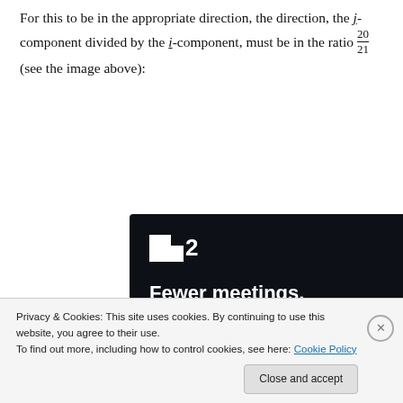For this to be in the appropriate direction, the direction, the j-component divided by the i-component, must be in the ratio 20/21 (see the image above):
[Figure (screenshot): Advertisement for a project management tool (Basecamp or similar) showing logo ':2', slogan 'Fewer meetings, more work.' and a 'Get started for free' button on dark background.]
Privacy & Cookies: This site uses cookies. By continuing to use this website, you agree to their use. To find out more, including how to control cookies, see here: Cookie Policy